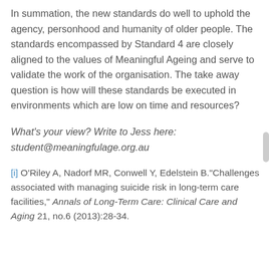In summation, the new standards do well to uphold the agency, personhood and humanity of older people. The standards encompassed by Standard 4 are closely aligned to the values of Meaningful Ageing and serve to validate the work of the organisation. The take away question is how will these standards be executed in environments which are low on time and resources?
What's your view? Write to Jess here: student@meaningfulage.org.au
[i] O'Riley A, Nadorf MR, Conwell Y, Edelstein B."Challenges associated with managing suicide risk in long-term care facilities," Annals of Long-Term Care: Clinical Care and Aging 21, no.6 (2013):28-34.